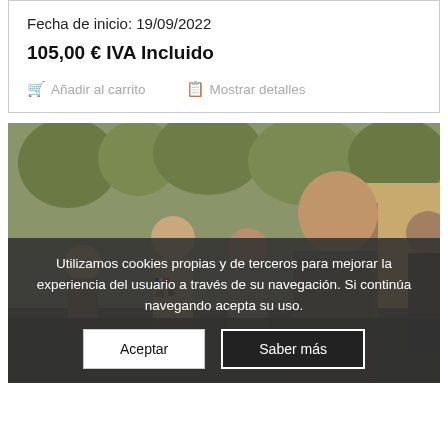Fecha de inicio: 19/09/2022
105,00 € IVA Incluido
🛒 Añadir al carrito
📋 Mostrar detalles
[Figure (photo): Military personnel in camouflage uniforms with French flag patch, gathered outdoors in a group briefing or discussion setting.]
Utilizamos cookies propias y de terceros para mejorar la experiencia del usuario a través de su navegación. Si continúa navegando acepta su uso.
Aceptar
Saber más